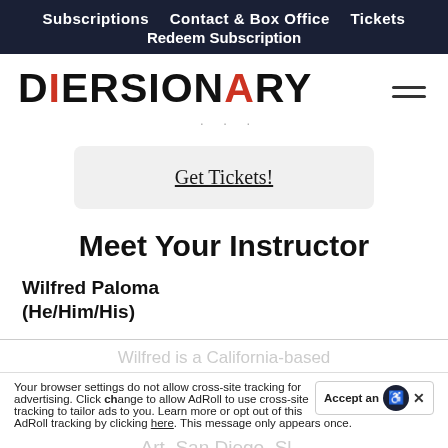Subscriptions  Contact & Box Office  Tickets  Redeem Subscription
[Figure (logo): Diversionary Theatre logo in bold black text with red V and red A]
Get Tickets!
Meet Your Instructor
Wilfred Paloma
(He/Him/His)
Wilfred is a California-based
Your browser settings do not allow cross-site tracking for advertising. Click change to allow AdRoll to use cross-site tracking to tailor ads to you. Learn more or opt out of this AdRoll tracking by clicking here. This message only appears once.